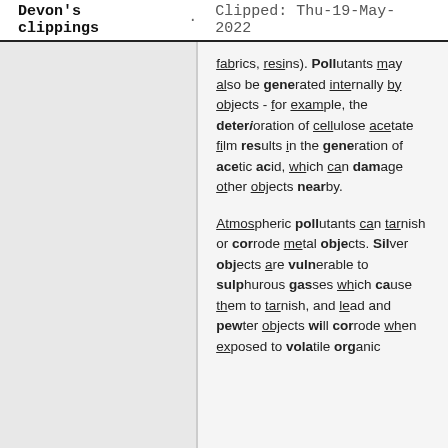Devon's clippings · Clipped: Thu-19-May-2022
fabrics, resins). Pollutants may also be generated internally by objects - for example, the deterioration of cellulose acetate film results in the generation of acetic acid, which can damage other objects nearby.
Atmospheric pollutants can tarnish or corrode metal objects. Silver objects are vulnerable to sulphurous gasses which cause them to tarnish, and lead and pewter objects will corrode when exposed to volatile organic